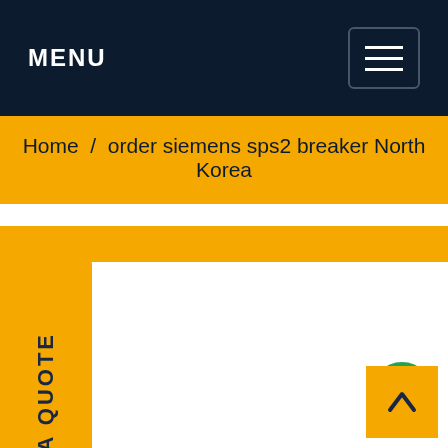MENU
Home / order siemens sps2 breaker North Korea
REQUEST A QUOTE
[Figure (other): Green circular chat/message button icon]
[Figure (other): Yellow back-to-top button with upward chevron arrow]